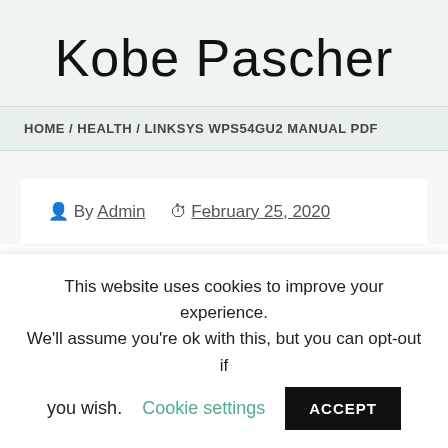Kobe Pascher
HOME / HEALTH / LINKSYS WPS54GU2 MANUAL PDF
By Admin  February 25, 2020
This website uses cookies to improve your experience. We'll assume you're ok with this, but you can opt-out if you wish.
Cookie settings
ACCEPT